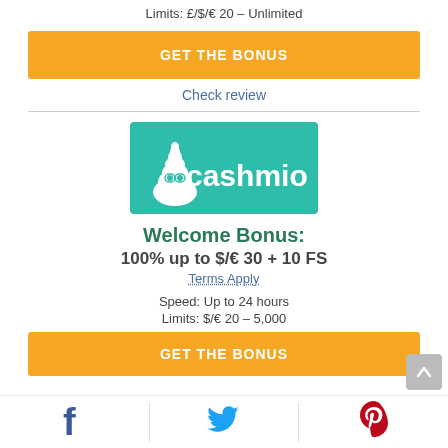Limits: £/$/€ 20 – Unlimited
GET THE BONUS
Check review
[Figure (logo): Cashmio logo — teal rectangle with white text 'cashmio' and a cartoon poop emoji mascot]
Welcome Bonus:
100% up to $/€ 30 + 10 FS
Terms Apply
Speed: Up to 24 hours
Limits: $/€ 20 – 5,000
GET THE BONUS